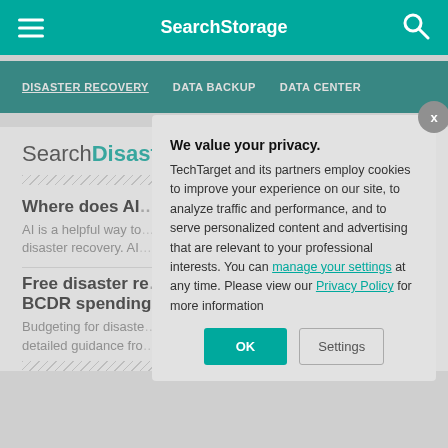SearchStorage
DISASTER RECOVERY   DATA BACKUP   DATA CENTER
SearchDisasterRecovery
Where does AI…
AI is a helpful way to… disaster recovery. AI…
Free disaster re… BCDR spending…
Budgeting for disaste… detailed guidance fro…
We value your privacy. TechTarget and its partners employ cookies to improve your experience on our site, to analyze traffic and performance, and to serve personalized content and advertising that are relevant to your professional interests. You can manage your settings at any time. Please view our Privacy Policy for more information